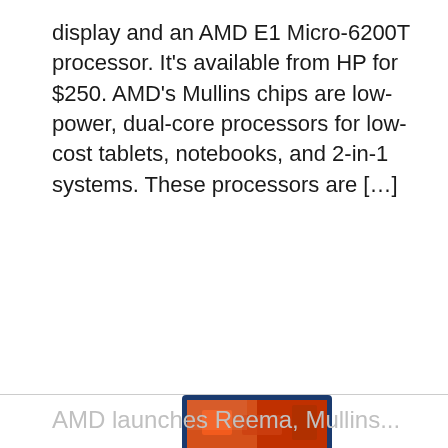display and an AMD E1 Micro-6200T processor. It's available from HP for $250. AMD's Mullins chips are low-power, dual-core processors for low-cost tablets, notebooks, and 2-in-1 systems. These processors are […]
[Figure (photo): AMD Mullins processor chip shown alongside a display/screen, product photo on white background]
AMD launches Reema, Mullins...